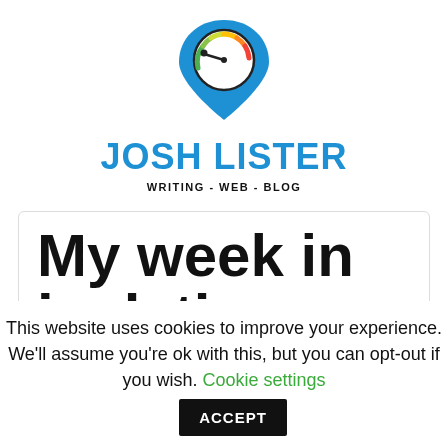[Figure (logo): Josh Lister website logo: a speedometer/gauge inside a blue map pin/location marker shape, with colorful gauge arc (green, yellow, orange, red) and a dark needle pointing left]
JOSH LISTER
WRITING - WEB - BLOG
My week in isolation
This website uses cookies to improve your experience. We'll assume you're ok with this, but you can opt-out if you wish. Cookie settings ACCEPT